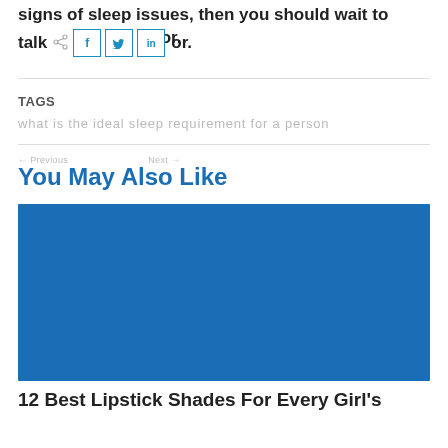signs of sleep issues, then you should wait to talk to your doctor.
[Figure (other): Social share buttons: share icon, Facebook (f), Twitter (bird), LinkedIn (in)]
TAGS
what is the ideal sleep requirement for a person
You May Also Like
[Figure (photo): Blue placeholder image for a related article]
12 Best Lipstick Shades For Every Girl's